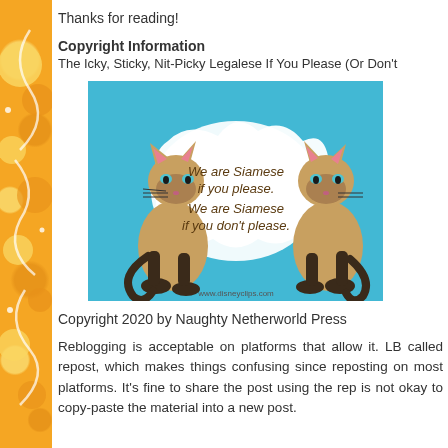Thanks for reading!
Copyright Information
The Icky, Sticky, Nit-Picky Legalese If You Please (Or Don't
[Figure (illustration): Cartoon image of two Siamese cats from Disney with text 'We are Siamese if you please. We are Siamese if you don't please.' on a blue background. Website www.disneyclips.com shown at bottom.]
Copyright 2020 by Naughty Netherworld Press
Reblogging is acceptable on platforms that allow it. LB called repost, which makes things confusing since reposting on most platforms. It's fine to share the post using the rep is not okay to copy-paste the material into a new post.